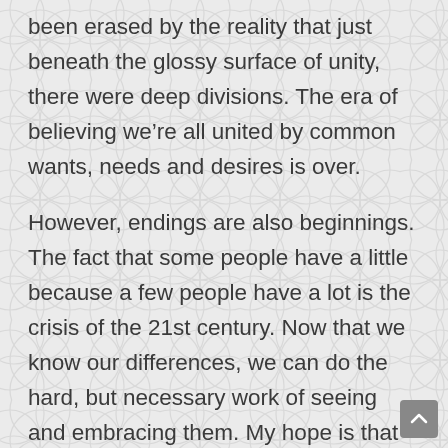been erased by the reality that just beneath the glossy surface of unity, there were deep divisions. The era of believing we’re all united by common wants, needs and desires is over.
However, endings are also beginnings. The fact that some people have a little because a few people have a lot is the crisis of the 21st century. Now that we know our differences, we can do the hard, but necessary work of seeing and embracing them. My hope is that the doors of diversity and inclusion will